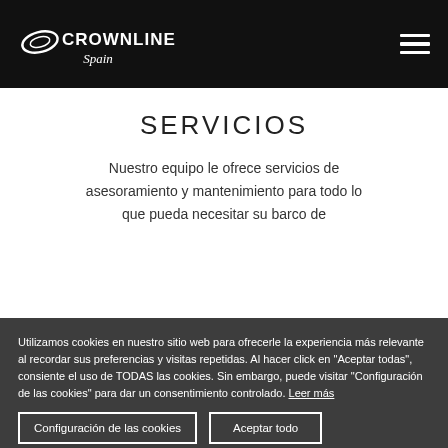Crownline Spain
SERVICIOS
Nuestro equipo le ofrece servicios de asesoramiento y mantenimiento para todo lo que pueda necesitar su barco de recreo.
Utilizamos cookies en nuestro sitio web para ofrecerle la experiencia más relevante al recordar sus preferencias y visitas repetidas. Al hacer click en "Aceptar todas", consiente el uso de TODAS las cookies. Sin embargo, puede visitar "Configuración de las cookies" para dar un consentimiento controlado. Leer más
Configuración de las cookies
Aceptar todo